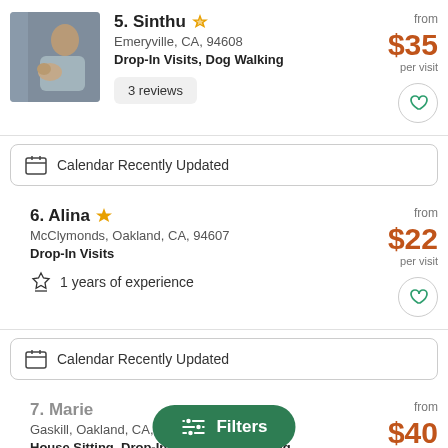[Figure (photo): Photo of Sinthu, a woman holding a small dog]
5. Sinthu ✓
Emeryville, CA, 94608
Drop-In Visits, Dog Walking
3 reviews
from $35 per visit
Calendar Recently Updated
6. Alina ✓
McClymonds, Oakland, CA, 94607
Drop-In Visits
1 years of experience
from $22 per visit
Calendar Recently Updated
7. Marie
Gaskill, Oakland, CA, 94608
House Sitting, Drop-In Visits, Dog Walking
from $40